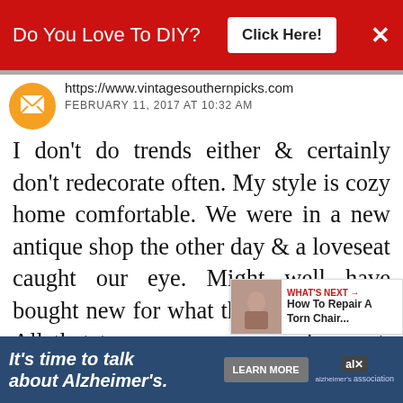[Figure (screenshot): Red advertisement banner at top: 'Do You Love To DIY?' with 'Click Here!' button and close X]
https://www.vintagesouthernpicks.com
FEBRUARY 11, 2017 AT 10:32 AM
I don't do trends either & certainly don't redecorate often. My style is cozy home comfortable. We were in a new antique shop the other day & a loveseat caught our eye. Might well have bought new for what they were asking. All that to say, we n a new loveseat, but I'm like you I would rather go do some any day than shop. I just don't need anything else or have the room to put
[Figure (screenshot): Bottom blue advertisement banner: 'It's time to talk about Alzheimer's.' with Learn More button and Alzheimer's Association logo]